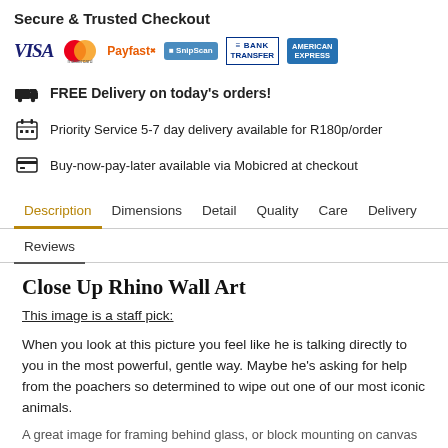Secure & Trusted Checkout
[Figure (logo): Payment method logos: VISA, Mastercard, PayFast, SnapScan, Bank Transfer, American Express]
FREE Delivery on today's orders!
Priority Service 5-7 day delivery available for R180p/order
Buy-now-pay-later available via Mobicred at checkout
Description | Dimensions | Detail | Quality | Care | Delivery | Reviews
Close Up Rhino Wall Art
This image is a staff pick:
When you look at this picture you feel like he is talking directly to you in the most powerful, gentle way. Maybe he's asking for help from the poachers so determined to wipe out one of our most iconic animals.
A great image for framing behind glass, or block mounting on canvas to...